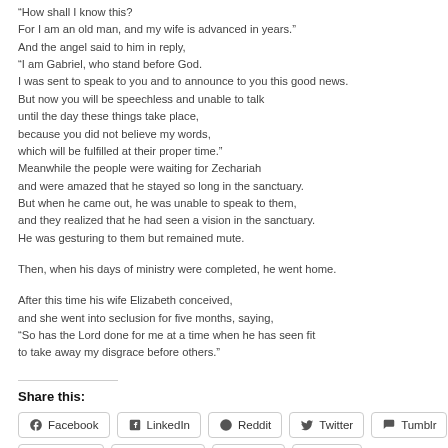“How shall I know this?
For I am an old man, and my wife is advanced in years.”
And the angel said to him in reply,
“I am Gabriel, who stand before God.
I was sent to speak to you and to announce to you this good news.
But now you will be speechless and unable to talk
until the day these things take place,
because you did not believe my words,
which will be fulfilled at their proper time.”
Meanwhile the people were waiting for Zechariah
and were amazed that he stayed so long in the sanctuary.
But when he came out, he was unable to speak to them,
and they realized that he had seen a vision in the sanctuary.
He was gesturing to them but remained mute.
Then, when his days of ministry were completed, he went home.
After this time his wife Elizabeth conceived,
and she went into seclusion for five months, saying,
“So has the Lord done for me at a time when he has seen fit
to take away my disgrace before others.”
Share this:
Facebook  LinkedIn  Reddit  Twitter  Tumblr  Pinterest  WhatsApp  Skype  Email